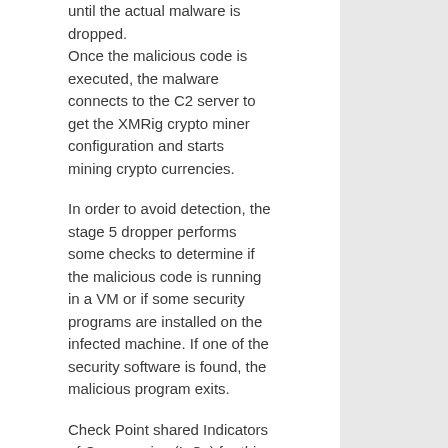until the actual malware is dropped. Once the malicious code is executed, the malware connects to the C2 server to get the XMRig crypto miner configuration and starts mining crypto currencies.
In order to avoid detection, the stage 5 dropper performs some checks to determine if the malicious code is running in a VM or if some security programs are installed on the infected machine. If one of the security software is found, the malicious program exits.
Check Point shared Indicators of Compromise (IoCs) for this campaign.
Follow me on Twitter: @securityaffairs and Facebook
Pierluigi Paganini
(SecurityAffairs – hacking, Nitrokod)